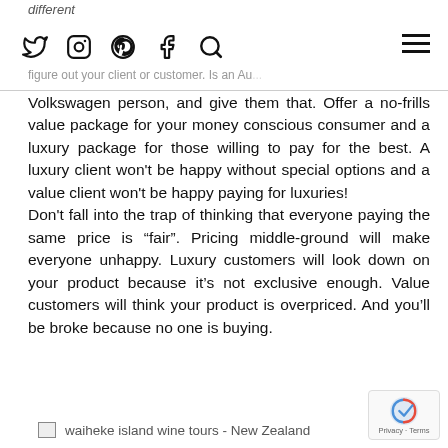different
Volkswagen person, and give them that. Offer a no-frills value package for your money conscious consumer and a luxury package for those willing to pay for the best. A luxury client won't be happy without special options and a value client won't be happy paying for luxuries!
Don't fall into the trap of thinking that everyone paying the same price is “fair”. Pricing middle-ground will make everyone unhappy. Luxury customers will look down on your product because it’s not exclusive enough. Value customers will think your product is overpriced. And you’ll be broke because no one is buying.
[Figure (other): Broken image placeholder labeled 'waiheke island wine tours - New Zealand']
[Figure (other): Google reCAPTCHA badge with Privacy and Terms links]